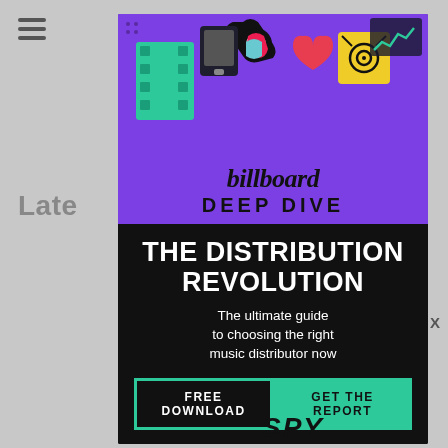[Figure (screenshot): Website screenshot showing hamburger menu icon on grey background, with 'Late' text partially visible, and a Billboard Deep Dive advertisement overlay for 'The Distribution Revolution' report]
billboard DEEP DIVE
THE DISTRIBUTION REVOLUTION
The ultimate guide to choosing the right music distributor now
FREE DOWNLOAD   GET THE REPORT
NOW JUST $79